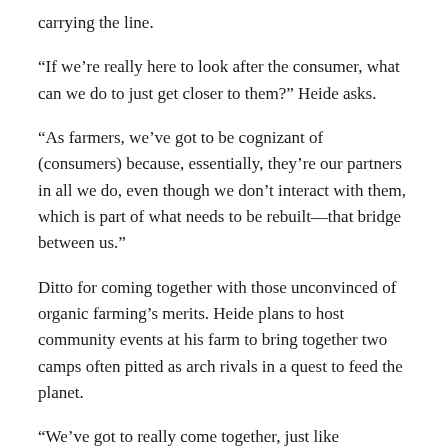carrying the line.
“If we’re really here to look after the consumer, what can we do to just get closer to them?” Heide asks.
“As farmers, we’ve got to be cognizant of (consumers) because, essentially, they’re our partners in all we do, even though we don’t interact with them, which is part of what needs to be rebuilt—that bridge between us.”
Ditto for coming together with those unconvinced of organic farming’s merits. Heide plans to host community events at his farm to bring together two camps often pitted as arch rivals in a quest to feed the planet.
“We’ve got to really come together, just like community used to do in the old days … to understand the problems and the challenges and the best ways to resolve them and communicate them,” Heide